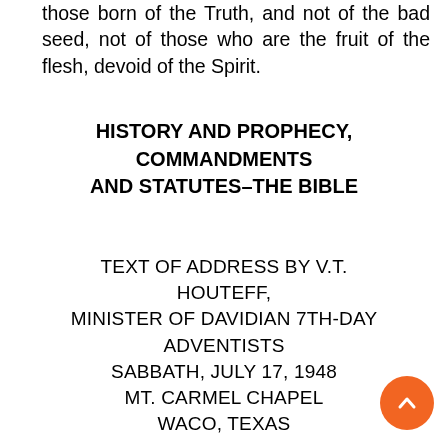those born of the Truth, and not of the bad seed, not of those who are the fruit of the flesh, devoid of the Spirit.
HISTORY AND PROPHECY, COMMANDMENTS AND STATUTES–THE BIBLE
TEXT OF ADDRESS BY V.T. HOUTEFF, MINISTER OF DAVIDIAN 7TH-DAY ADVENTISTS SABBATH, JULY 17, 1948 MT. CARMEL CHAPEL WACO, TEXAS